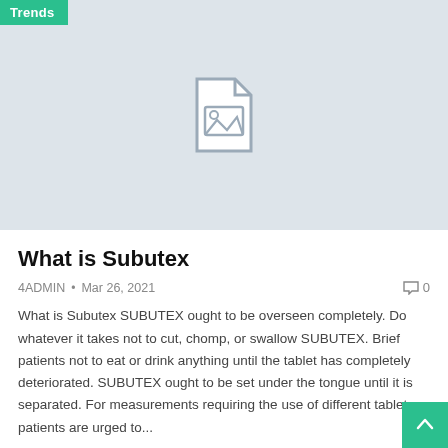[Figure (illustration): Light blue-gray placeholder image with a document/image icon in the center, with a 'Trends' green badge in the top-left corner]
What is Subutex
4ADMIN • Mar 26, 2021    0
What is Subutex SUBUTEX ought to be overseen completely. Do whatever it takes not to cut, chomp, or swallow SUBUTEX. Brief patients not to eat or drink anything until the tablet has completely deteriorated. SUBUTEX ought to be set under the tongue until it is separated. For measurements requiring the use of different tablets, patients are urged to...
READ MORE